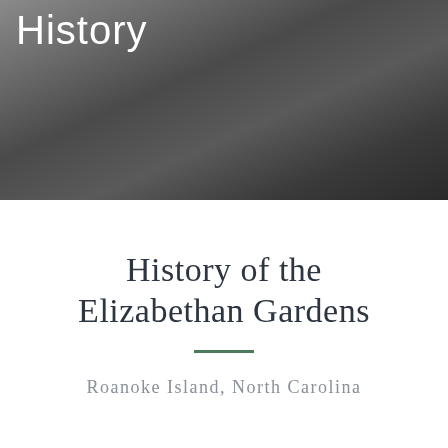[Figure (photo): Black and white photograph of elderly women sitting together, likely at an outdoor event. Partial text 'History' visible in white at top left of image.]
History of the Elizabethan Gardens
Roanoke Island, North Carolina